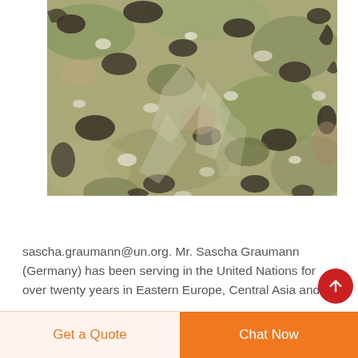[Figure (photo): Close-up photograph of multicam/camouflage fabric with green, brown, black and white patterns, showing fabric folds and creases in the center]
sascha.graumann@un.org. Mr. Sascha Graumann (Germany) has been serving in the United Nations for over twenty years in Eastern Europe, Central Asia and